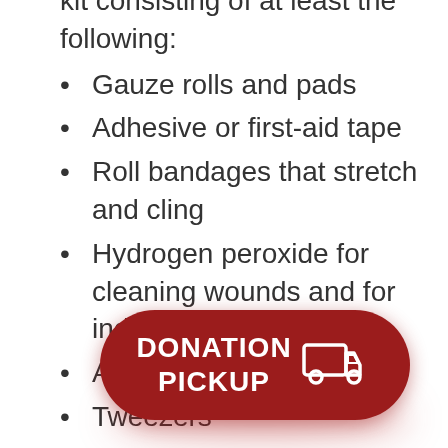kit consisting of at least the following:
Gauze rolls and pads
Adhesive or first-aid tape
Roll bandages that stretch and cling
Hydrogen peroxide for cleaning wounds and for inducing vomiting
Antiseptic cream
Tweezers
Magnifying glass
Scissors
Saline solution or eye lubricant
Plastic syringe for
[Figure (infographic): Red rounded rectangle button overlay with white text reading 'DONATION PICKUP' and a white truck icon]